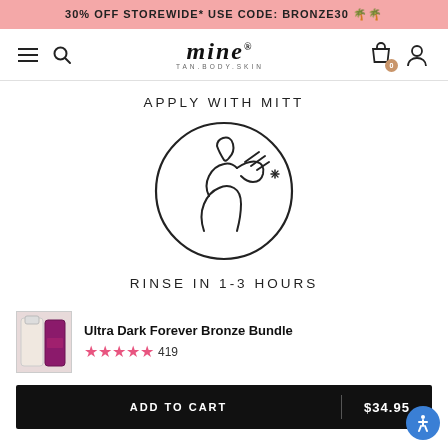30% OFF STOREWIDE* USE CODE: BRONZE30 🌴🌴
[Figure (logo): Mine Tan Body Skin logo with hamburger menu, search icon, shopping bag and user icons]
APPLY WITH MITT
[Figure (illustration): Circular line illustration of a person applying self-tan with a mitt, with sparkle lines]
RINSE IN 1-3 HOURS
[Figure (photo): Product thumbnail of Ultra Dark Forever Bronze Bundle showing a bottle and mitt in purple]
Ultra Dark Forever Bronze Bundle
★★★★★ 419
ADD TO CART | $34.95